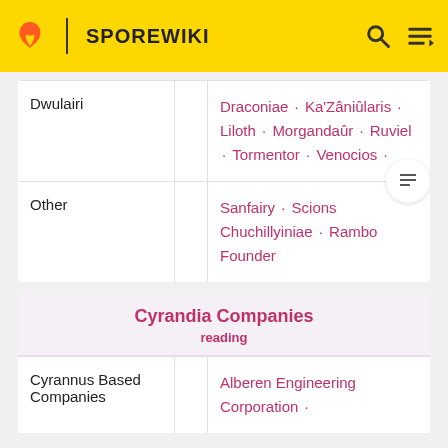SPOREWIKI
|  |  |  |
| --- | --- | --- |
| Dwulairi |  | Draconiae · Ka'Zâniûlaris · Liloth · Morgandaûr · Ruviel · Tormentor · Venocios · |
| Other |  | Sanfairy · Scions Chuchillyiniae · Rambo Founder |
Cyrandia Companies
reading
|  |  |  |
| --- | --- | --- |
| Cyrannus Based Companies |  | Alberen Engineering Corporation · |